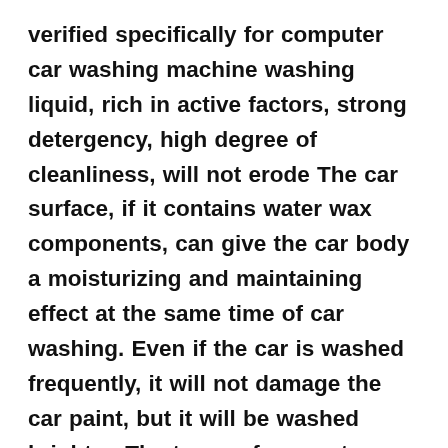verified specifically for computer car washing machine washing liquid, rich in active factors, strong detergency, high degree of cleanliness, will not erode The car surface, if it contains water wax components, can give the car body a moisturizing and maintaining effect at the same time of car washing. Even if the car is washed frequently, it will not damage the car paint, but it will be washed brighter. The types of computer car washing machine special car wash liquid can be roughly divided into three categories: neutral car wash liquid, acidic car wash liquid, alkaline car wash liquid. At present, neutral car washes are generally used in various brushed computer car washers, and acidic car washes and alkaline car washes are commonly used in various brushless computer car washers. Please refer to the instructions of